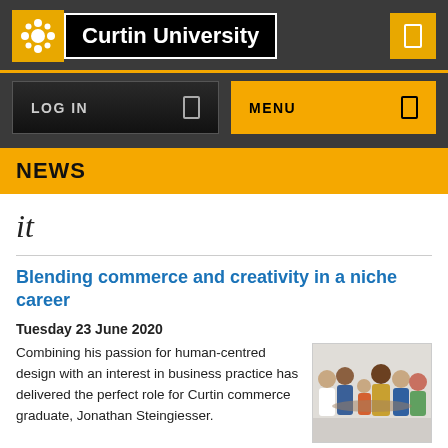[Figure (logo): Curtin University logo with gold icon and black text box on dark grey navigation bar]
LOG IN | MENU
NEWS
it
Blending commerce and creativity in a niche career
Tuesday 23 June 2020
Combining his passion for human-centred design with an interest in business practice has delivered the perfect role for Curtin commerce graduate, Jonathan Steingiesser.
[Figure (photo): Group photo of several people smiling and posing together]